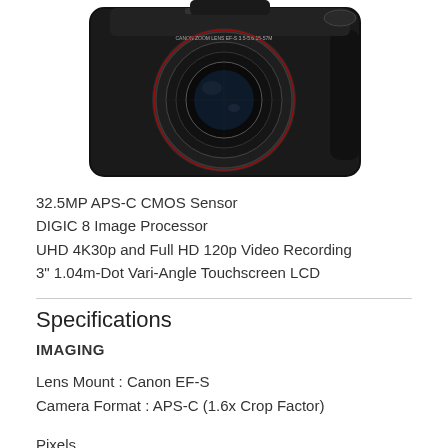[Figure (photo): Canon DSLR camera with zoom lens, black body, front view showing lens with CANON ZOOM LENS EF-S 3.5-5.6 15-57MM text on lens barrel]
32.5MP APS-C CMOS Sensor
DIGIC 8 Image Processor
UHD 4K30p and Full HD 120p Video Recording
3" 1.04m-Dot Vari-Angle Touchscreen LCD
Specifications
IMAGING
Lens Mount : Canon EF-S
Camera Format : APS-C (1.6x Crop Factor)
Pixels